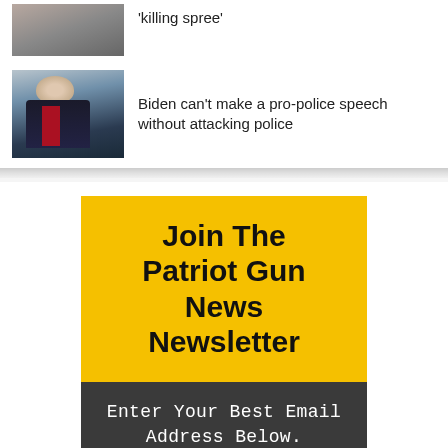[Figure (photo): Partial thumbnail photo at top, partially cropped, showing a person]
'killing spree'
[Figure (photo): Photo of Biden speaking, wearing a suit with a red tie, outdoors]
Biden can't make a pro-police speech without attacking police
Join The Patriot Gun News Newsletter
Enter Your Best Email Address Below.